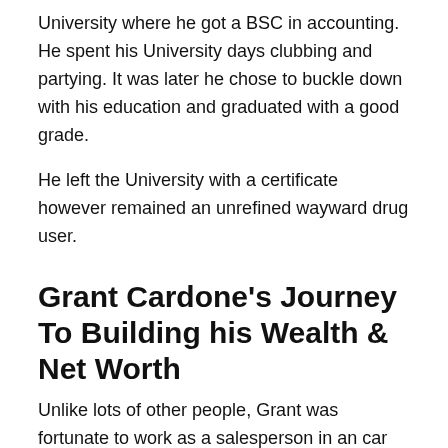University where he got a BSC in accounting. He spent his University days clubbing and partying. It was later he chose to buckle down with his education and graduated with a good grade.
He left the University with a certificate however remained an unrefined wayward drug user.
Grant Cardone's Journey To Building his Wealth & Net Worth
Unlike lots of other people, Grant was fortunate to work as a salesperson in an car workshop. He needs to supervise the process and tape-record of selling.